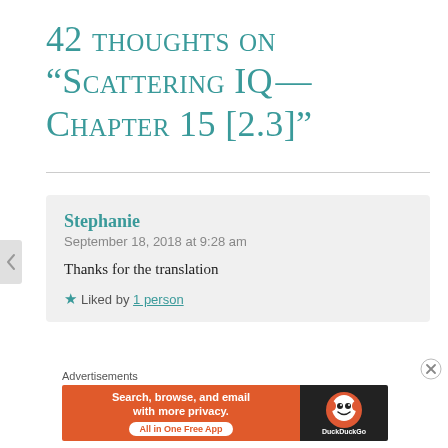42 thoughts on “Scattering IQ — Chapter 15 [2.3]”
Stephanie
September 18, 2018 at 9:28 am

Thanks for the translation

★ Liked by 1 person
Advertisements
[Figure (screenshot): DuckDuckGo advertisement banner: orange left side with text 'Search, browse, and email with more privacy. All in One Free App', dark right side with DuckDuckGo logo.]